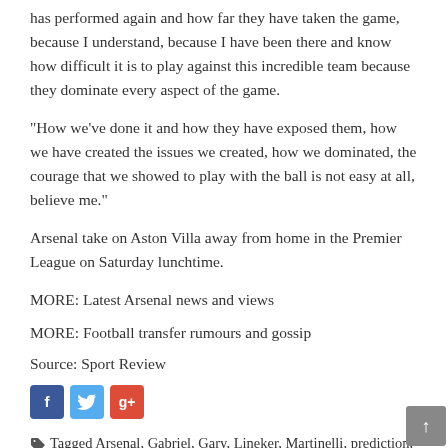has performed again and how far they have taken the game, because I understand, because I have been there and know how difficult it is to play against this incredible team because they dominate every aspect of the game.
"How we've done it and how they have exposed them, how we have created the issues we created, how we dominated, the courage that we showed to play with the ball is not easy at all, believe me."
Arsenal take on Aston Villa away from home in the Premier League on Saturday lunchtime.
MORE: Latest Arsenal news and views
MORE: Football transfer rumours and gossip
Source: Sport Review
[Figure (other): Social media share icons: Facebook, Twitter, Google+]
Tagged Arsenal, Gabriel, Gary, Lineker, Martinelli, prediction, star